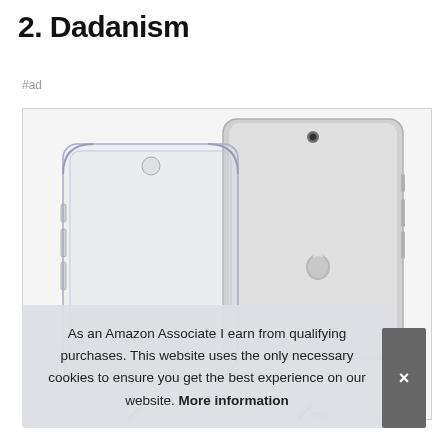2. Dadanism
#ad
[Figure (photo): Product photo showing a clear transparent iPad case alongside a silver Apple iPad, both displayed from the back, showing the Apple logo on the iPad.]
As an Amazon Associate I earn from qualifying purchases. This website uses the only necessary cookies to ensure you get the best experience on our website. More information